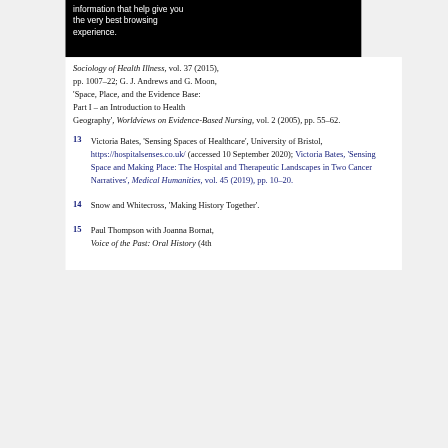information that help give you the very best browsing experience.
Sociology of Health Illness, vol. 37 (2015), pp. 1007–22; G. J. Andrews and G. Moon, 'Space, Place, and the Evidence Base: Part I – an Introduction to Health Geography', Worldviews on Evidence-Based Nursing, vol. 2 (2005), pp. 55–62.
13  Victoria Bates, 'Sensing Spaces of Healthcare', University of Bristol, https://hospitalsenses.co.uk/ (accessed 10 September 2020); Victoria Bates, 'Sensing Space and Making Place: The Hospital and Therapeutic Landscapes in Two Cancer Narratives', Medical Humanities, vol. 45 (2019), pp. 10–20.
14  Snow and Whitecross, 'Making History Together'.
15  Paul Thompson with Joanna Bornat, Voice of the Past: Oral History (4th